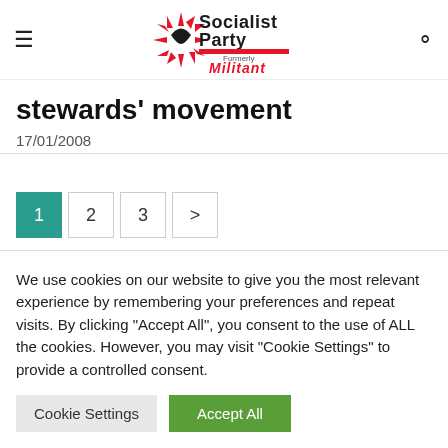Socialist Party — Formerly Militant
stewards' movement
17/01/2008
1 2 3 >
We use cookies on our website to give you the most relevant experience by remembering your preferences and repeat visits. By clicking "Accept All", you consent to the use of ALL the cookies. However, you may visit "Cookie Settings" to provide a controlled consent.